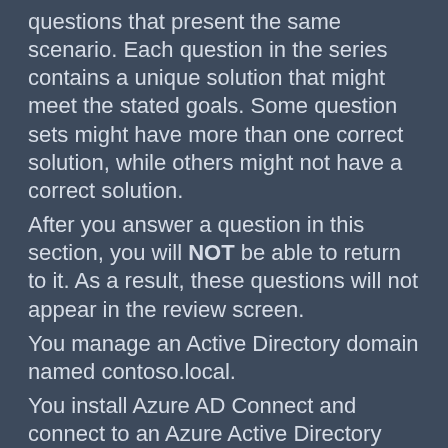questions that present the same scenario. Each question in the series contains a unique solution that might meet the stated goals. Some question sets might have more than one correct solution, while others might not have a correct solution.
After you answer a question in this section, you will NOT be able to return to it. As a result, these questions will not appear in the review screen.
You manage an Active Directory domain named contoso.local.
You install Azure AD Connect and connect to an Azure Active Directory (Azure AD) tenant named contoso.com without syncing any accounts.
You need to ensure that only users who have a UPN suffix of contoso.com in the contoso.local